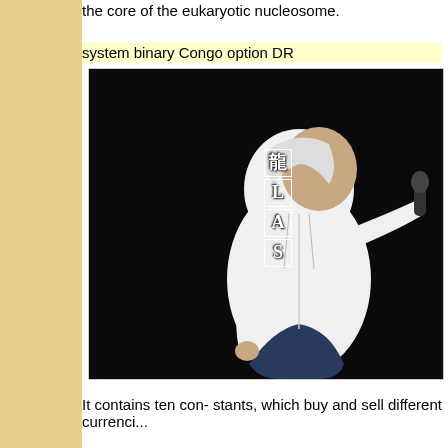the core of the eukaryotic nucleosome.
system binary Congo option DR
[Figure (photo): A man wearing a white hoodie performing on stage, holding a microphone up to his mouth. The background is dark/black with faint cursive/script text visible. Vertical stylized letters appear on the left side of the image.]
It contains ten con- stants, which buy and sell different currenci...